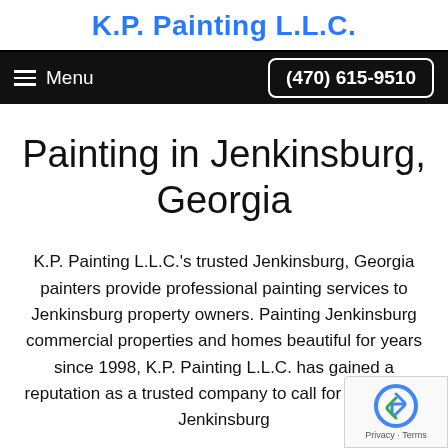K.P. Painting L.L.C.
Menu   (470) 615-9510
Painting in Jenkinsburg, Georgia
K.P. Painting L.L.C.'s trusted Jenkinsburg, Georgia painters provide professional painting services to Jenkinsburg property owners. Painting Jenkinsburg commercial properties and homes beautiful for years since 1998, K.P. Painting L.L.C. has gained a reputation as a trusted company to call for painting in Jenkinsburg